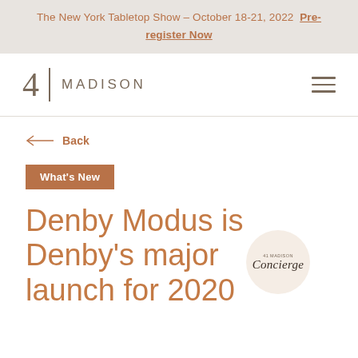The New York Tabletop Show – October 18-21, 2022 Pre-register Now
41 MADISON
← Back
What's New
Denby Modus is Denby's major launch for 2020
[Figure (logo): 41 Madison Concierge circular badge logo]